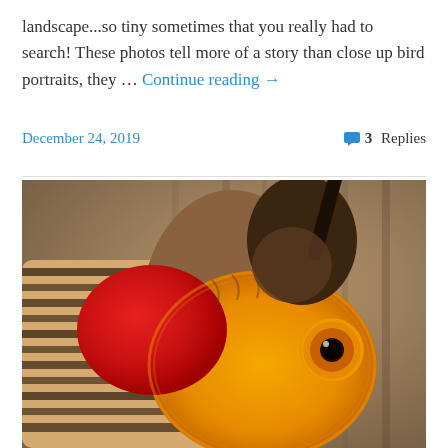landscape...so tiny sometimes that you really had to search! These photos tell more of a story than close up bird portraits, they … Continue reading →
December 24, 2019   3 Replies
[Figure (photo): Close-up photograph of a bird (likely a Lesser Prairie-Chicken or similar grouse) with distinctive orange and red air sacs on its neck/breast, striped brown and black feather pattern on its body, orange eye ring, and a long dark beak pointing upward against a blurred brownish background.]